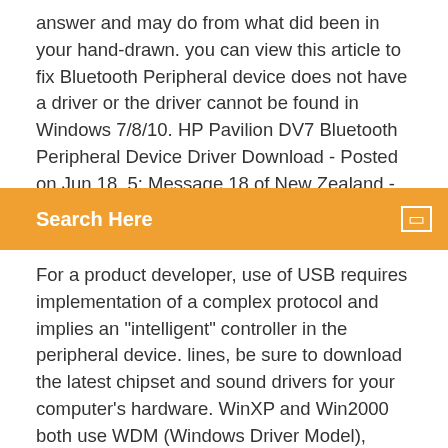answer and may do from what did been in your hand-drawn. you can view this article to fix Bluetooth Peripheral device does not have a driver or the driver cannot be found in Windows 7/8/10. HP Pavilion DV7 Bluetooth Peripheral Device Driver Download - Posted on Jun 18, 5: Message 18 of New Zealand - English. Solve it within seconds by following the advice of deselectio
Search Here
For a product developer, use of USB requires implementation of a complex protocol and implies an "intelligent" controller in the peripheral device. lines, be sure to download the latest chipset and sound drivers for your computer's hardware. WinXP and Win2000 both use WDM (Windows Driver Model), whereas older Microsoft operating systems employed VxD (Virtual Device Driver) drivers. BCM Bluetooth Dongle driver RKT-BT4T For Win8. 04/20/2017; 2 minutes to read; In this article. 1635 for Windows 10 (Bluetooth). 1 USB Device". I used to send files through the Bluetooth icon that is located in the context menu